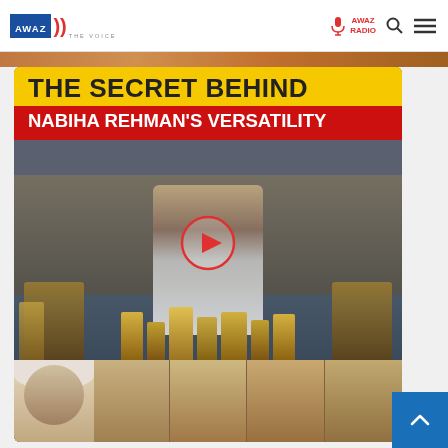AWAZ THE VOICE | AWAZ RADIO
[Figure (screenshot): Website screenshot showing AWAZ THE VOICE navigation bar with logo, AWAZ RADIO link, search icon, and hamburger menu]
[Figure (photo): Thumbnail image for article 'The Secret Behind Nabiha Rehman's Versatility' with yellow banner title, red subtitle banner, and photo collage of a child with medals, trophies, and multiple face portraits at the bottom. A red circular play button is overlaid in the center.]
THE SECRET BEHIND NABIHA REHMAN'S VERSATILITY